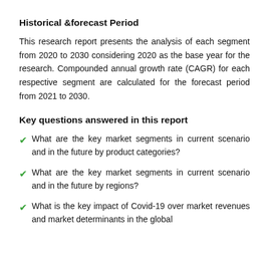Historical &forecast Period
This research report presents the analysis of each segment from 2020 to 2030 considering 2020 as the base year for the research. Compounded annual growth rate (CAGR) for each respective segment are calculated for the forecast period from 2021 to 2030.
Key questions answered in this report
What are the key market segments in current scenario and in the future by product categories?
What are the key market segments in current scenario and in the future by regions?
What is the key impact of Covid-19 over market revenues and market determinants in the global